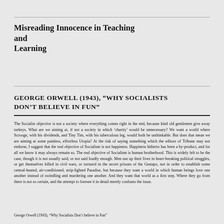Misreading Innocence in Teaching and Learning
GEORGE ORWELL (1943), “WHY SOCIALISTS DON’T BELIEVE IN FUN”
The Socialist objective is not a society where everything comes right in the end, because kind old gentlemen give away turkeys. What are we aiming at, if not a society in which ‘charity’ would be unnecessary? We want a world where Scrooge, with his dividends, and Tiny Tim, with his tuberculous leg, would both be unthinkable. But does that mean we are aiming at some painless, effortless Utopia? At the risk of saying something which the editors of Tribune may not endorse, I suggest that the real objective of Socialism is not happiness. Happiness hitherto has been a by-product, and for all we know it may always remain so. The real objective of Socialism is human brotherhood. This is widely felt to be the case, though it is not usually said, or not said loudly enough. Men use up their lives in heart-breaking political struggles, or get themselves killed in civil wars, or tortured in the secret prisons of the Gestapo, not in order to establish some central-heated, air-conditioned, strip-lighted Paradise, but because they want a world in which human beings love one another instead of swindling and murdering one another. And they want that world as a first step. Where they go from there is not so certain, and the attempt to foresee it in detail merely confuses the issue.
George Orwell (1943), “Why Socialists Don’t believe in Fun”